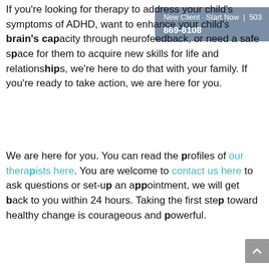New Client · Start Now | 503 869-8108
If you're looking for therapy to address your child's symptoms of ADHD, want to enhance your child's brain's capacity through neurofeedback, or need a safe space for them to acquire new skills for life and relationships, we're here to do that with your family. If you're ready to take action, we are here for you.
We are here for you. You can read the profiles of our therapists here. You are welcome to contact us here to ask questions or set-up an appointment, we will get back to you within 24 hours. Taking the first step toward healthy change is courageous and powerful.